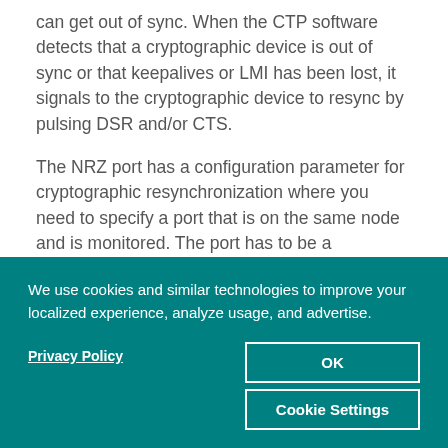can get out of sync. When the CTP software detects that a cryptographic device is out of sync or that keepalives or LMI has been lost, it signals to the cryptographic device to resync by pulsing DSR and/or CTS.
The NRZ port has a configuration parameter for cryptographic resynchronization where you need to specify a port that is on the same node and is monitored. The port has to be a Fractional T1/E1 port that has Frame transport Enabled. When the bundle that includes these ports is up
We use cookies and similar technologies to improve your localized experience, analyze usage, and advertise.
Privacy Policy
OK
Cookie Settings